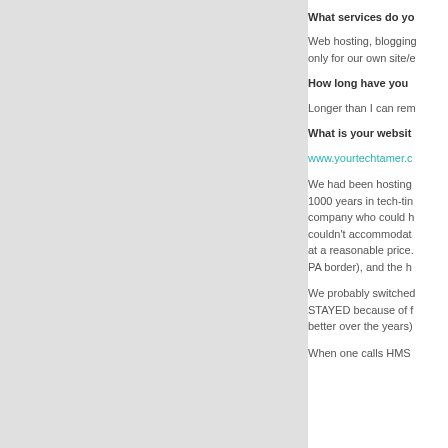What services do yo
Web hosting, blogging only for our own site/e
How long have you
Longer than I can rem
What is your websit
www.yourtechtamer.c
We had been hosting 1000 years in tech-tin company who could h couldn't accommodat at a reasonable price. PA border), and the h
We probably switche STAYED because of f better over the years)
When one calls HMS